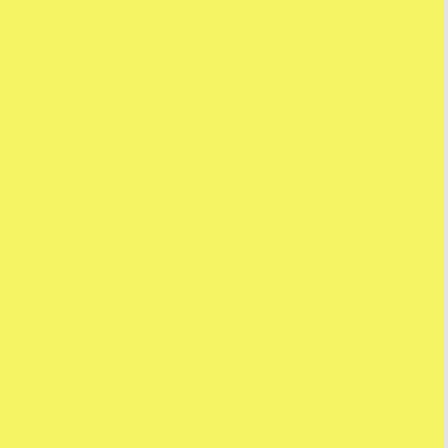[Figure (screenshot): Forum page screenshot showing a yellow left panel, a top forum post section with toolbar icons (Dec 30, 2014 05:46), Profile/Post History/Rap Sheet buttons, QUOTE button, and a bottom post by 'Screaming Idiot' (Nov 26, 2007) with a pickle image and post text beginning 'I've been skimming this thread']
yours!
Profile
Post H
Rap Sh
Dec 30, 2014 05:46
QUOTE
Screaming Idiot
Nov 26, 2007
I've been skimming this thread